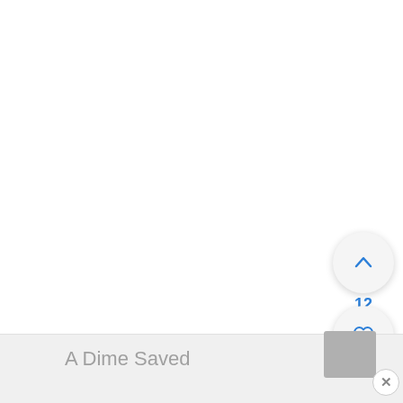[Figure (screenshot): UI screenshot showing three circular action buttons on the right side: an upvote (chevron up) button, a heart/favorite button, and a blue search/magnify button. A vote count of 12 is shown between the upvote and heart buttons. At the bottom is a content bar showing 'A Dime Saved' title with a thumbnail and close button.]
12
A Dime Saved